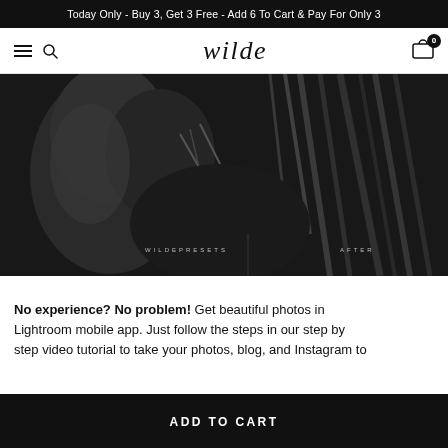Today Only - Buy 3, Get 3 Free - Add 6 To Cart & Pay For Only 3
[Figure (photo): Black and white photo of a person in lingerie with wet hair, showing a before/after preset comparison. Text overlays read 'WILDEPRESETS' and 'AFTER'.]
No experience? No problem! Get beautiful photos in Lightroom mobile app. Just follow the steps in our step by step video tutorial to take your photos, blog, and Instagram to